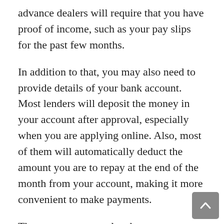advance dealers will require that you have proof of income, such as your pay slips for the past few months.
In addition to that, you may also need to provide details of your bank account. Most lenders will deposit the money in your account after approval, especially when you are applying online. Also, most of them will automatically deduct the amount you are to repay at the end of the month from your account, making it more convenient to make payments.
There are many people who are opponents of bad credit loans due to the fact that they seem to offer high interest rates. For instance, many payday